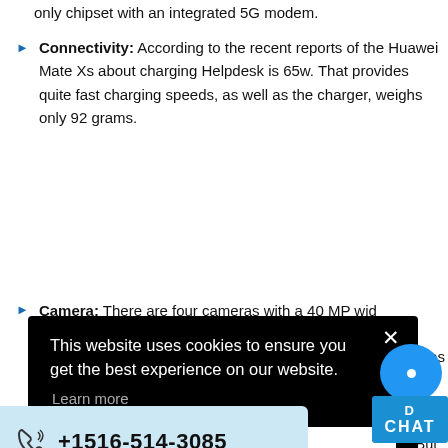only chipset with an integrated 5G modem.
Connectivity: According to the recent reports of the Huawei Mate Xs about charging Helpdesk is 65w. That provides quite fast charging speeds, as well as the charger, weighs only 92 grams.
Camera: There are four cameras with a 40 MP wide...
[Figure (screenshot): Cookie consent modal popup with black background, showing 'This website uses cookies to ensure you get the best experience on our website.' with Learn more link and Got it button]
[Figure (infographic): Blue live chat button with speech bubble icon and CHAT label]
[Figure (infographic): Light blue phone bar showing +1516-514-3085 with phone icon]
ilable currently. But there are unique features to expect with the new Huawei Mate Xs Ultimate Folding Pho...